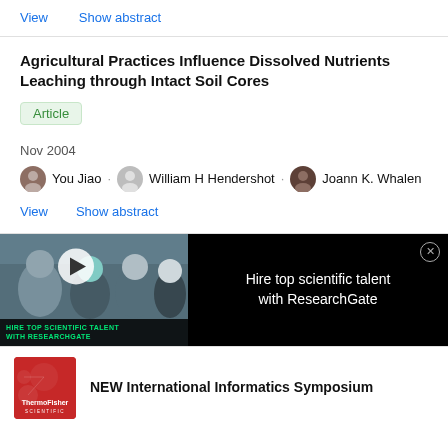View   Show abstract
Agricultural Practices Influence Dissolved Nutrients Leaching through Intact Soil Cores
Article
Nov 2004
You Jiao · William H Hendershot · Joann K. Whalen
View   Show abstract
[Figure (photo): Video thumbnail of scientists in a laboratory with overlay text 'HIRE TOP SCIENTIFIC TALENT WITH RESEARCHGATE' and a play button. Ad banner for ResearchGate recruitment.]
Hire top scientific talent with ResearchGate
[Figure (logo): ThermoFisher Scientific logo on red background with molecular graphics]
NEW International Informatics Symposium